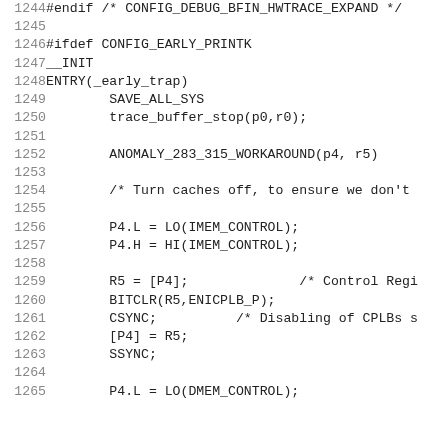1244    #endif /* CONFIG_DEBUG_BFIN_HWTRACE_EXPAND */
1245
1246    #ifdef CONFIG_EARLY_PRINTK
1247    __INIT
1248    ENTRY(_early_trap)
1249            SAVE_ALL_SYS
1250            trace_buffer_stop(p0,r0);
1251
1252            ANOMALY_283_315_WORKAROUND(p4, r5)
1253
1254            /* Turn caches off, to ensure we don't
1255
1256            P4.L = LO(IMEM_CONTROL);
1257            P4.H = HI(IMEM_CONTROL);
1258
1259            R5 = [P4];              /* Control Regi
1260            BITCLR(R5,ENICPLB_P);
1261            CSYNC;          /* Disabling of CPLBs s
1262            [P4] = R5;
1263            SSYNC;
1264
1265            P4.L = LO(DMEM_CONTROL);